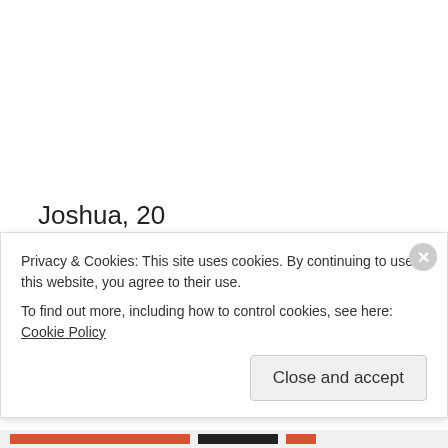Joshua, 20
Jana, 18
John-David, 18
Jill, 17
Jessa, 16
Privacy & Cookies: This site uses cookies. By continuing to use this website, you agree to their use.
To find out more, including how to control cookies, see here: Cookie Policy